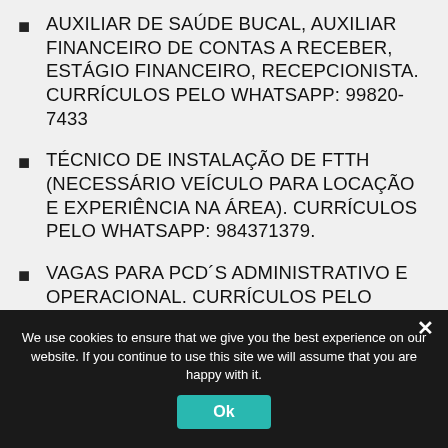AUXILIAR DE SAÚDE BUCAL, AUXILIAR FINANCEIRO DE CONTAS A RECEBER, ESTÁGIO FINANCEIRO, RECEPCIONISTA. CURRÍCULOS PELO WHATSAPP: 99820-7433
TÉCNICO DE INSTALAÇÃO DE FTTH (NECESSÁRIO VEÍCULO PARA LOCAÇÃO E EXPERIÊNCIA NA ÁREA). CURRÍCULOS PELO WHATSAPP: 984371379.
VAGAS PARA PCD´S ADMINISTRATIVO E OPERACIONAL. CURRÍCULOS PELO WHATSAPP: 3541-7084
We use cookies to ensure that we give you the best experience on our website. If you continue to use this site we will assume that you are happy with it.